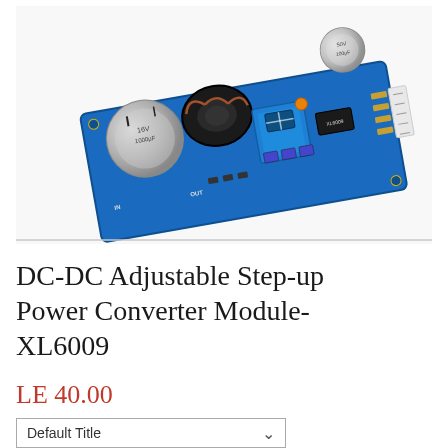[Figure (photo): Photo of a DC-DC adjustable step-up boost power converter module XL6009 on a blue PCB, featuring large electrolytic capacitors, a toroidal inductor, and a blue potentiometer trimmer, photographed on a white background with a light gray border at the bottom.]
DC-DC Adjustable Step-up Power Converter Module- XL6009
LE 40.00
Default Title